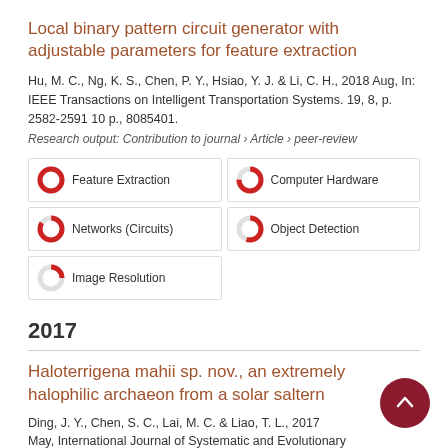Local binary pattern circuit generator with adjustable parameters for feature extraction
Hu, M. C., Ng, K. S., Chen, P. Y., Hsiao, Y. J. & Li, C. H., 2018 Aug, In: IEEE Transactions on Intelligent Transportation Systems. 19, 8, p. 2582-2591 10 p., 8085401.
Research output: Contribution to journal › Article › peer-review
[Figure (infographic): Keyword badges with donut-chart fill indicators: Feature Extraction (100%), Computer Hardware (~75%), Networks (Circuits) (~85%), Object Detection (~55%), Image Resolution (~25%)]
2017
Haloterrigena mahii sp. nov., an extremely halophilic archaeon from a solar saltern
Ding, J. Y., Chen, S. C., Lai, M. C. & Liao, T. L., 2017 May, International Journal of Systematic and Evolutionary